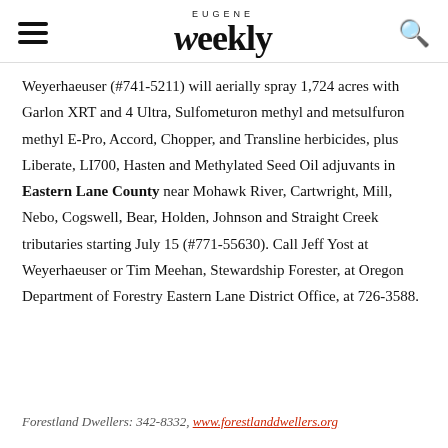Eugene Weekly
Weyerhaeuser (#741-5211) will aerially spray 1,724 acres with Garlon XRT and 4 Ultra, Sulfometuron methyl and metsulfuron methyl E-Pro, Accord, Chopper, and Transline herbicides, plus Liberate, LI700, Hasten and Methylated Seed Oil adjuvants in Eastern Lane County near Mohawk River, Cartwright, Mill, Nebo, Cogswell, Bear, Holden, Johnson and Straight Creek tributaries starting July 15 (#771-55630). Call Jeff Yost at Weyerhaeuser or Tim Meehan, Stewardship Forester, at Oregon Department of Forestry Eastern Lane District Office, at 726-3588.
Forestland Dwellers: 342-8332, www.forestlanddwellers.org